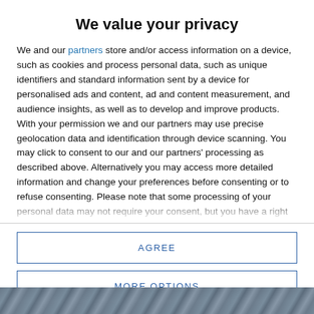We value your privacy
We and our partners store and/or access information on a device, such as cookies and process personal data, such as unique identifiers and standard information sent by a device for personalised ads and content, ad and content measurement, and audience insights, as well as to develop and improve products. With your permission we and our partners may use precise geolocation data and identification through device scanning. You may click to consent to our and our partners' processing as described above. Alternatively you may access more detailed information and change your preferences before consenting or to refuse consenting. Please note that some processing of your personal data may not require your consent, but you have a right to
AGREE
MORE OPTIONS
[Figure (photo): Partial background photo visible at the bottom of the page beneath the modal dialog]